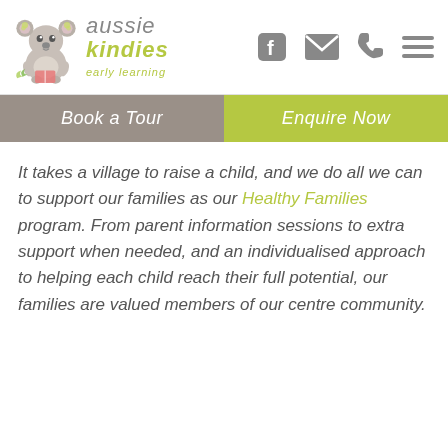[Figure (logo): Aussie Kindies Early Learning logo with a cartoon koala and stylized text]
| Book a Tour | Enquire Now |
| --- | --- |
It takes a village to raise a child, and we do all we can to support our families as our Healthy Families program. From parent information sessions to extra support when needed, and an individualised approach to helping each child reach their full potential, our families are valued members of our centre community.